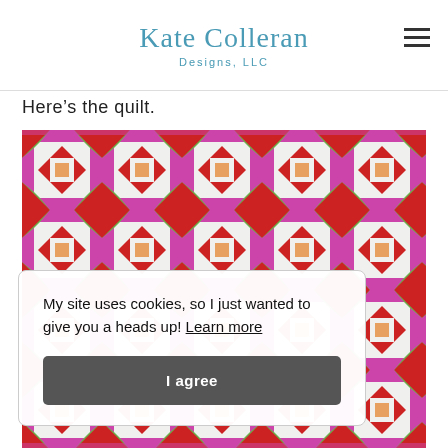Kate Colleran Designs, LLC
Here’s the quilt.
[Figure (photo): A colorful patchwork quilt featuring geometric patterns with red, green, magenta/pink, white, and orange fabric pieces arranged in a repeating diamond and square block design.]
My site uses cookies, so I just wanted to give you a heads up! Learn more
I agree